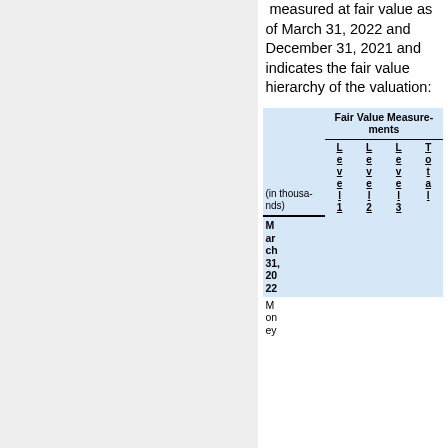measured at fair value as of March 31, 2022 and December 31, 2021 and indicates the fair value hierarchy of the valuation:
| (in thousands) | Level 1 | Level 2 | Level 3 | Total |
| --- | --- | --- | --- | --- |
| March 31, 2022 |  |  |  |  |
| Mon... |  |  |  |  |